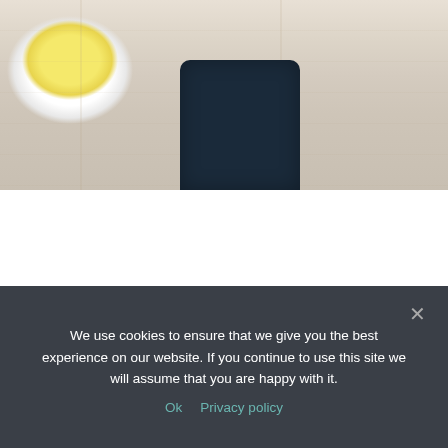[Figure (photo): Top banner photo showing a white wooden table surface with a cup of yellow tea/soup on the left and a person wearing a dark navy floral-patterned sleeve in the center, with another dark sleeve visible on the right.]
BWGCVN AWARD
We use cookies to ensure that we give you the best experience on our website. If you continue to use this site we will assume that you are happy with it.
Ok   Privacy policy